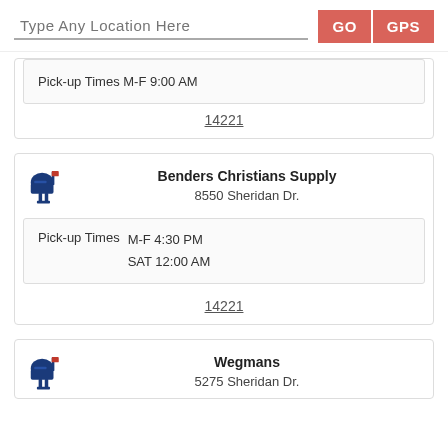Type Any Location Here  GO  GPS
Pick-up Times M-F 9:00 AM
14221
Benders Christians Supply
8550 Sheridan Dr.
Pick-up Times  M-F 4:30 PM  SAT 12:00 AM
14221
Wegmans
5275 Sheridan Dr.